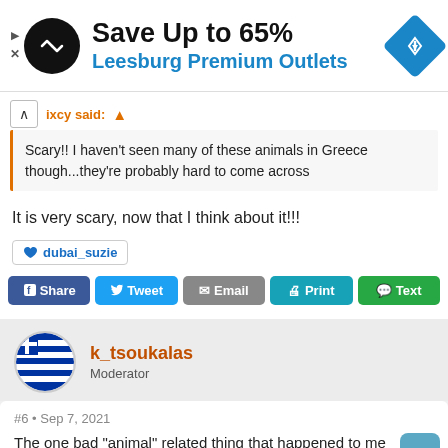[Figure (infographic): Advertisement banner: black circular logo with arrows, 'Save Up to 65%' in bold black, 'Leesburg Premium Outlets' in blue, blue diamond navigation icon on the right.]
ixcy said:
Scary!! I haven't seen many of these animals in Greece though...they're probably hard to come across
It is very scary, now that I think about it!!!
dubai_suzie
[Figure (screenshot): Social share buttons: Share (Facebook blue), Tweet (Twitter blue), Email (gray), Print (teal), Text (green)]
k_tsoukalas
Moderator
#6 • Sep 7, 2021
The one bad "animal" related thing that happened to me